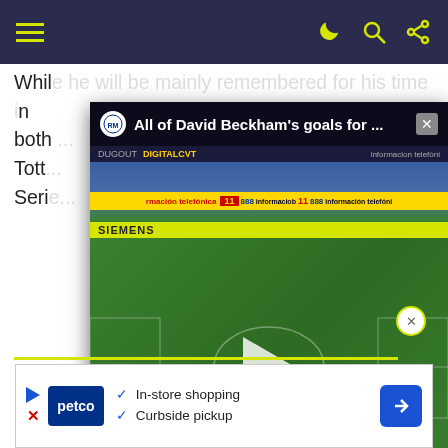navigation bar with hamburger menu and icons
While he will be mainly remembered for his time in both... Tott... ll in Serie...
[Figure (screenshot): Video popup overlay showing a soccer match on a grass pitch with title 'All of David Beckham's goals for ...' and a play button in the center]
He m... havi... injury.
So much was the public interest in Gazza, that his Lazio debut against Genoa was televised in Britain. He went on to make 47 appearances for the Italian side... six goals, before returning...
[Figure (screenshot): Advertisement banner for Petco showing 'In-store shopping' and 'Curbside pickup' with arrow icon and close button]